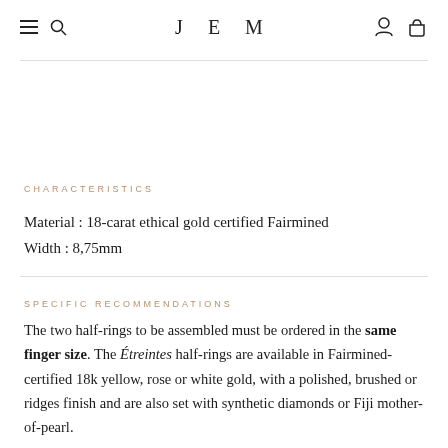JEM
CHARACTERISTICS
Material : 18-carat ethical gold certified Fairmined
Width : 8,75mm
SPECIFIC RECOMMENDATIONS
The two half-rings to be assembled must be ordered in the same finger size. The Étreintes half-rings are available in Fairmined-certified 18k yellow, rose or white gold, with a polished, brushed or ridges finish and are also set with synthetic diamonds or Fiji mother-of-pearl.